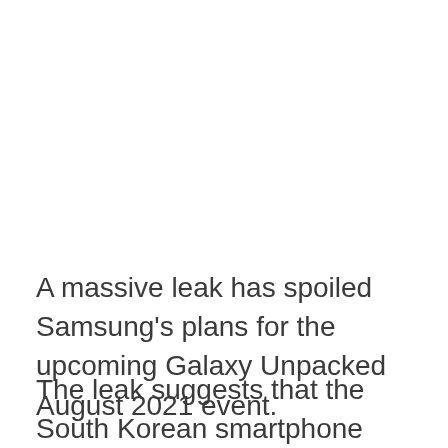A massive leak has spoiled Samsung's plans for the upcoming Galaxy Unpacked August 2021 event.
The leak suggests that the South Korean smartphone manufacturer will unveil two foldable